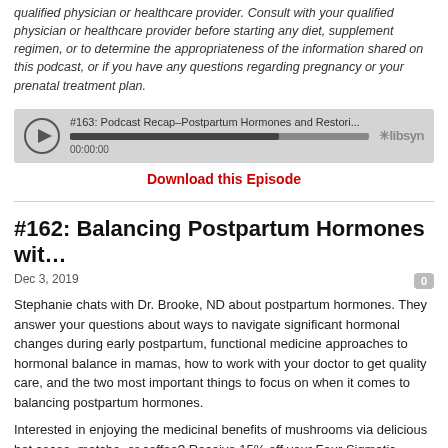qualified physician or healthcare provider. Consult with your qualified physician or healthcare provider before starting any diet, supplement regimen, or to determine the appropriateness of the information shared on this podcast, or if you have any questions regarding pregnancy or your prenatal treatment plan.
[Figure (screenshot): Podcast audio player widget showing episode #163: Podcast Recap–Postpartum Hormones and Restori... with a progress bar and libsyn branding, time showing 00:00:00]
Download this Episode
#162: Balancing Postpartum Hormones wit...
Dec 3, 2019
Stephanie chats with Dr. Brooke, ND about postpartum hormones. They answer your questions about ways to navigate significant hormonal changes during early postpartum, functional medicine approaches to hormonal balance in mamas, how to work with your doctor to get quality care, and the two most important things to focus on when it comes to balancing postpartum hormones.
Interested in enjoying the medicinal benefits of mushrooms via delicious hot cocoa, matcha, or coffee? Receive 15% off your Four Sigmatic purchase by using code WHOLEMAMAS at check out or simply head to foursigmatic.com/wholemamas.